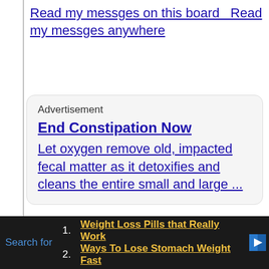Read my messges on this board   Read my messges anywhere
[Figure (screenshot): Advertisement box with rounded corners. Title: 'End Constipation Now'. Body: 'Let oxygen remove old, impacted fecal matter as it detoxifies and cleans the entire small and large ...']
More
Search for
1. Weight Loss Pills that Really Work
2. Ways To Lose Stomach Weight Fast